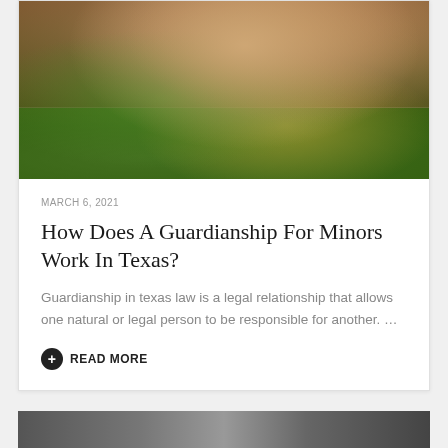[Figure (photo): Close-up photo of hands being held together, with blurred yellow flowers and green foliage in the background.]
MARCH 6, 2021
How Does A Guardianship For Minors Work In Texas?
Guardianship in texas law is a legal relationship that allows one natural or legal person to be responsible for another. …
READ MORE
[Figure (photo): Partial photo visible at the bottom of the page, appears to be a black and white image.]